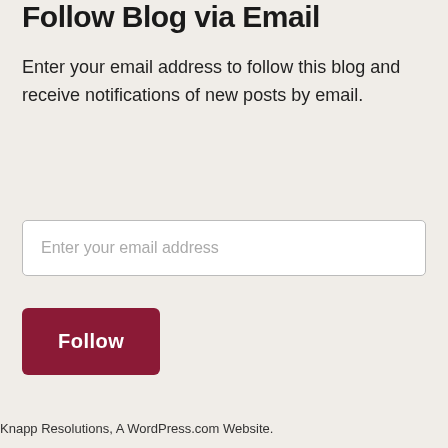Follow Blog via Email
Enter your email address to follow this blog and receive notifications of new posts by email.
Enter your email address
Follow
Knapp Resolutions, A WordPress.com Website.